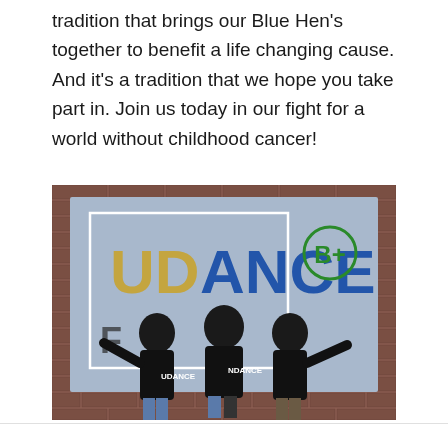tradition that brings our Blue Hen's together to benefit a life changing cause. And it's a tradition that we hope you take part in. Join us today in our fight for a world without childhood cancer!
[Figure (photo): Three young women wearing black UDance t-shirts posing in front of a large UDance banner with the B+ Foundation logo on a brick wall background.]